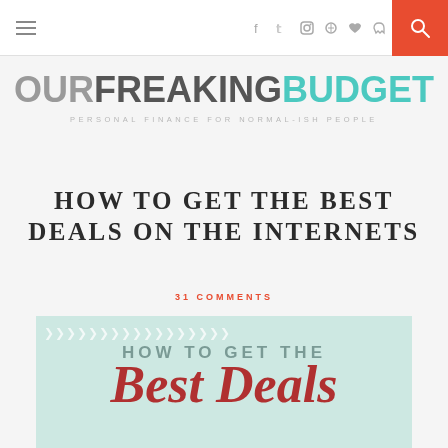OurFreakingBudget — navigation bar with hamburger menu, social icons (f, twitter, instagram, pinterest, heart, RSS), and search button
OURFREAKINGBUDGET — PERSONAL FINANCE FOR NORMAL-ISH PEOPLE
HOW TO GET THE BEST DEALS ON THE INTERNETS
31 COMMENTS
[Figure (infographic): Light mint/green background infographic with right-pointing chevron arrows across top, text reading 'HOW TO GET THE' in gray uppercase, and 'Best Deals' in large red italic serif font below]